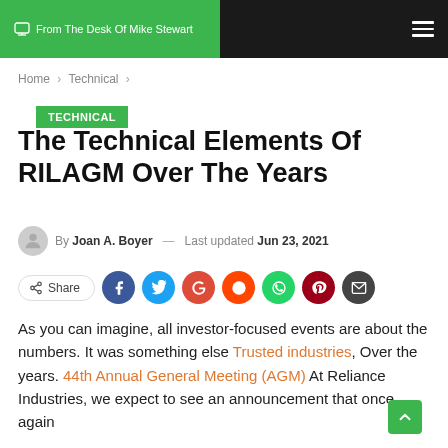From The Desk Of Mike Stewart
Home > Technical >
TECHNICAL
The Technical Elements Of RILAGM Over The Years
By Joan A. Boyer — Last updated Jun 23, 2021
[Figure (other): Social share bar with Share button and social media icons: Facebook, Twitter, Google, Reddit, WhatsApp, Pinterest, Email]
As you can imagine, all investor-focused events are about the numbers. It was something else Trusted industries, Over the years. 44th Annual General Meeting (AGM) At Reliance Industries, we expect to see an announcement that once again